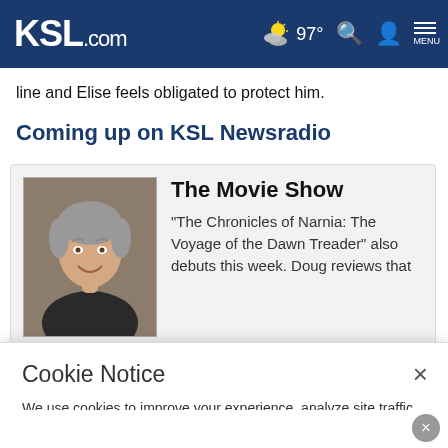KSL.com — 97° [weather icon] [search icon] [account icon] MENU
line and Elise feels obligated to protect him.
Coming up on KSL Newsradio
[Figure (photo): Headshot of a middle-aged man with gray hair, smiling, wearing a dark jacket.]
The Movie Show
"The Chronicles of Narnia: The Voyage of the Dawn Treader" also debuts this week. Doug reviews that
Cookie Notice
We use cookies to improve your experience, analyze site traffic, and to personalize content and ads. By continuing to use our site, you consent to our use of cookies. Please visit our Terms of Use and Privacy Policy for more information